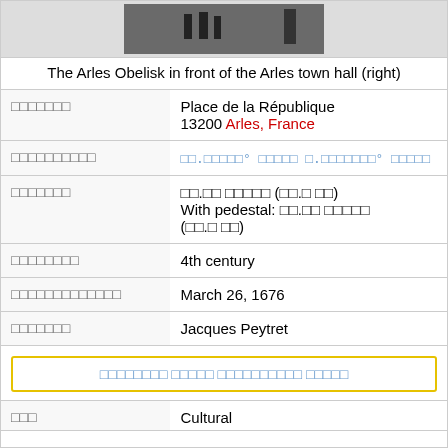[Figure (photo): Photo of the Arles Obelisk in front of the Arles town hall]
The Arles Obelisk in front of the Arles town hall (right)
| xxxxxxx | Place de la République
13200 Arles, France |
| xxxxxxxxxx | xx.xxxxx° xxxxxx x.xxxxxxx° xxxxxx |
| xxxxxxx | xx.xx xxxxxx (xx.x xx)
With pedestal: xx.xx xxxxxx (xx.x xx) |
| xxxxxxxx | 4th century |
| xxxxxxxxxxxxx | March 26, 1676 |
| xxxxxxx | Jacques Peytret |
xxxxxxxxx xxxxxx xxxxxxxxxx xxxxx
| xxx | Cultural |